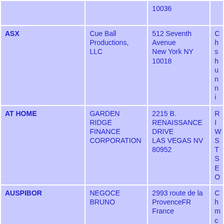| Ticker/Code | Issuer/Company | Address | Details |
| --- | --- | --- | --- |
|  |  | 10036 |  |
| ASX | Cue Ball Productions, LLC | 512 Seventh Avenue
New York NY
10018 | Ch sh un ni |
| AT HOME | GARDEN RIDGE FINANCE CORPORATION | 2215 B. RENAISSANCE DRIVE
LAS VEGAS NV
80952 | RI W ST SE O |
| AUSPIBOR | NEGOCE BRUNO | 2993 route de la ProvenceFR
France | Ch m ch |
| AUTO AUTOCOUTURE | Sumitex International Company Limited | 2F Sumitomo Shoji Jinbocho Building
JP
Tokyo 1010051
Japan | Ch dr ch cl dr |